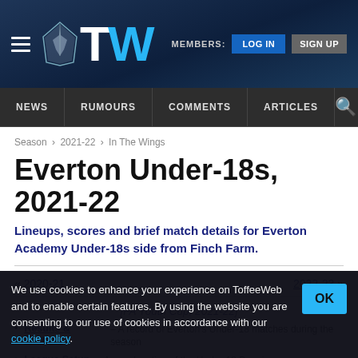TW — MEMBERS: LOG IN SIGN UP
NEWS | RUMOURS | COMMENTS | ARTICLES
Season › 2021-22 › In The Wings
Everton Under-18s, 2021-22
Lineups, scores and brief match details for Everton Academy Under-18s side from Finch Farm.
« 2020-21   2022-23 »
[FA Youth Cup, 2021-22]
Results & Fixtures — A record of Everton's Under-18 matches during the season
League Setup — An explanation of the Under-18 Premier
We use cookies to enhance your experience on ToffeeWeb and to enable certain features. By using the website you are consenting to our use of cookies in accordance with our cookie policy.